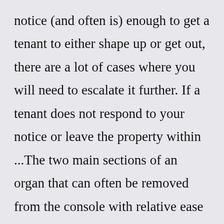notice (and often is) enough to get a tenant to either shape up or get out, there are a lot of cases where you will need to escalate it further. If a tenant does not respond to your notice or leave the property within ...The two main sections of an organ that can often be removed from the console with relative ease are the pedal board and the bench. Just removing these two sections from the console can lighten the console by close to